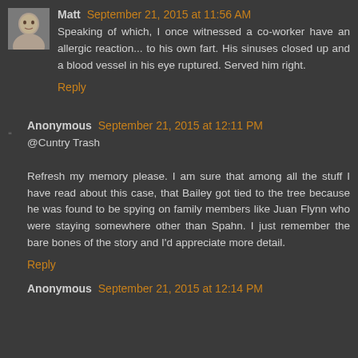Matt September 21, 2015 at 11:56 AM
Speaking of which, I once witnessed a co-worker have an allergic reaction... to his own fart. His sinuses closed up and a blood vessel in his eye ruptured. Served him right.
Reply
Anonymous September 21, 2015 at 12:11 PM
@Cuntry Trash
Refresh my memory please. I am sure that among all the stuff I have read about this case, that Bailey got tied to the tree because he was found to be spying on family members like Juan Flynn who were staying somewhere other than Spahn. I just remember the bare bones of the story and I'd appreciate more detail.
Reply
Anonymous September 21, 2015 at 12:14 PM